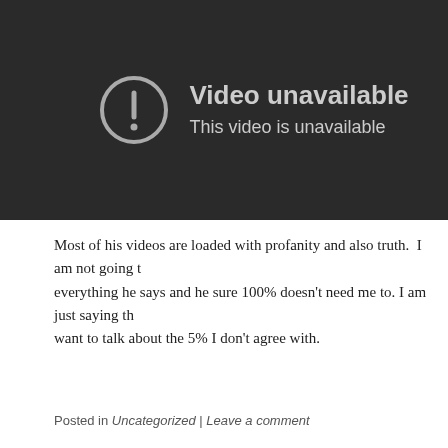[Figure (screenshot): YouTube-style 'Video unavailable' error screen on dark background. Shows a circular warning icon with exclamation mark, large text 'Video unavailable' and smaller text 'This video is unavailable'.]
Most of his videos are loaded with profanity and also truth.  I am not going to everything he says and he sure 100% doesn't need me to. I am just saying th want to talk about the 5% I don't agree with.
Posted in Uncategorized | Leave a comment